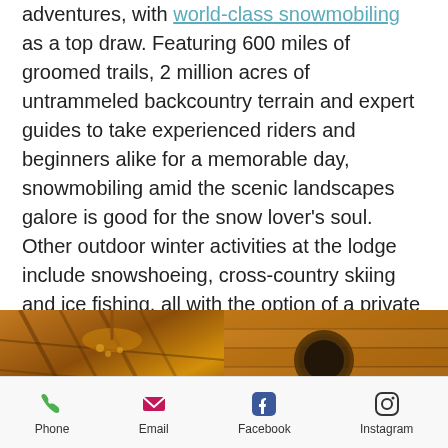adventures, with world-class snowmobiling as a top draw. Featuring 600 miles of groomed trails, 2 million acres of untrammeled backcountry terrain and expert guides to take experienced riders and beginners alike for a memorable day, snowmobiling amid the scenic landscapes galore is good for the snow lover's soul. Other outdoor winter activities at the lodge include snowshoeing, cross-country skiing and ice fishing, all with the option of a private guide.
[Figure (photo): Two lodge interior photos side by side: left shows rustic wooden ceiling/chandelier detail with warm amber tones; right shows wooden wall paneling with a round window and rustic decor]
Phone  Email  Facebook  Instagram